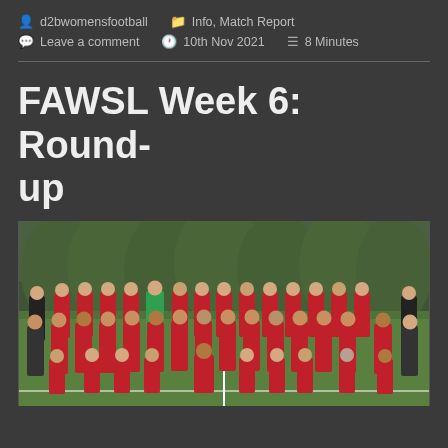d2bwomensfootball   Info, Match Report   Leave a comment   10th Nov 2021   8 Minutes
FAWSL Week 6: Round-up
[Figure (photo): Arsenal women's football team squad photo, posing in three rows on a green pitch in front of a hedge, wearing red and white Emirates-sponsored kits, with coaching staff in black tracksuit tops on the sides.]